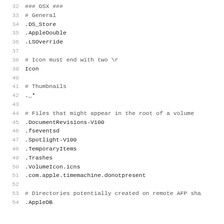32  ### OSX ###
33  # General
34  .DS_Store
35  .AppleDouble
36  .LSOverride
37  
38  # Icon must end with two \r
39  Icon
40  
41  # Thumbnails
42  ._*
43  
44  # Files that might appear in the root of a volume
45  .DocumentRevisions-V100
46  .fseventsd
47  .Spotlight-V100
48  .TemporaryItems
49  .Trashes
50  .VolumeIcon.icns
51  .com.apple.timemachine.donotpresent
52  
53  # Directories potentially created on remote AFP sha
54  .AppleDB